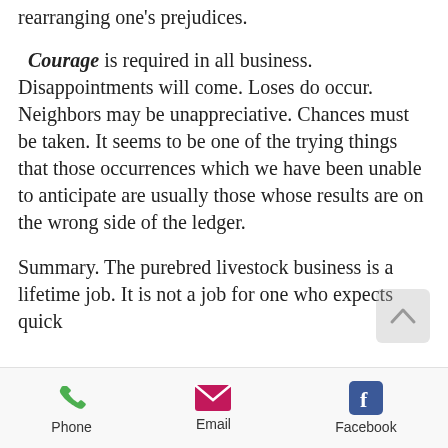rearranging one’s prejudices.
Courage is required in all business. Disappointments will come. Loses do occur. Neighbors may be unappreciative. Chances must be taken. It seems to be one of the trying things that those occurrences which we have been unable to anticipate are usually those whose results are on the wrong side of the ledger.
Summary. The purebred livestock business is a lifetime job. It is not a job for one who expects quick
Phone  Email  Facebook